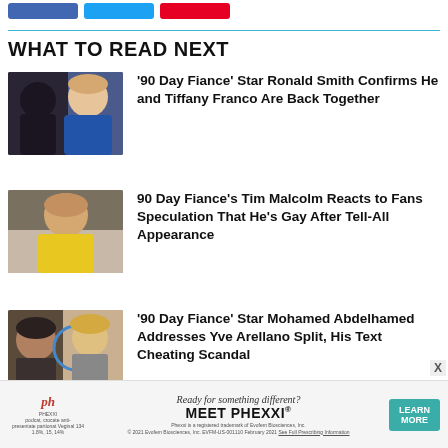WHAT TO READ NEXT
'90 Day Fiance' Star Ronald Smith Confirms He and Tiffany Franco Are Back Together
90 Day Fiance's Tim Malcolm Reacts to Fans Speculation That He's Gay After Tell-All Appearance
'90 Day Fiance' Star Mohamed Abdelhamed Addresses Yve Arellano Split, His Text Cheating Scandal
[Figure (photo): Advertisement banner for Phexxi contraceptive product]
Ready for something different? MEET PHEXXI. LEARN MORE